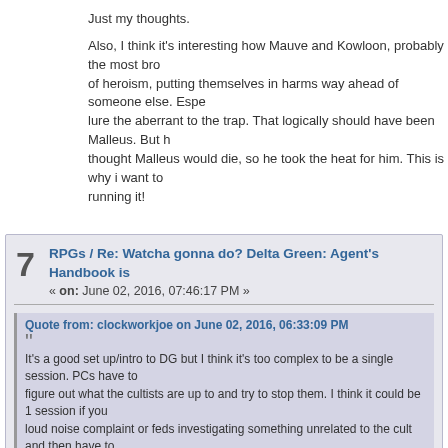Just my thoughts.
Also, I think it's interesting how Mauve and Kowloon, probably the most bro... of heroism, putting themselves in harms way ahead of someone else. Espe... lure the aberrant to the trap. That logically should have been Malleus. But h... thought Malleus would die, so he took the heat for him. This is why i want to... running it!
7   RPGs / Re: Watcha gonna do? Delta Green: Agent's Handbook is... « on: June 02, 2016, 07:46:17 PM »
Quote from: clockworkjoe on June 02, 2016, 06:33:09 PM
It's a good set up/intro to DG but I think it's too complex to be a single session. PCs have to... figure out what the cultists are up to and try to stop them. I think it could be 1 session if you... loud noise complaint or feds investigating something unrelated to the cult and then have to... cultists. If you don't mind multiple sessions, then it's fine as it is. You might read Cold Dead...
I think i'm okay with it being more than one session. I try to plan out games... session. The first set piece is obviously the crime scene and an action scen... end of the first session K-Cell will be all dead, and there will only be more q... together, before the Sorcerer and the Consort slip away in the night. The ne... with the cult's survivors, and a test of their resolve. They get away and com... faction) are wiped out. The first session is the Question. The second sessio...